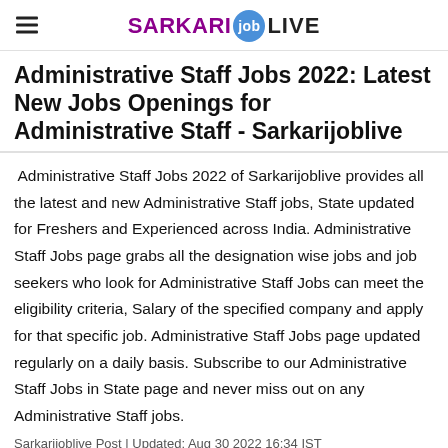SARKARI job LIVE
Administrative Staff Jobs 2022: Latest New Jobs Openings for Administrative Staff - Sarkarijoblive
Administrative Staff Jobs 2022 of Sarkarijoblive provides all the latest and new Administrative Staff jobs, State updated for Freshers and Experienced across India. Administrative Staff Jobs page grabs all the designation wise jobs and job seekers who look for Administrative Staff Jobs can meet the eligibility criteria, Salary of the specified company and apply for that specific job. Administrative Staff Jobs page updated regularly on a daily basis. Subscribe to our Administrative Staff Jobs in State page and never miss out on any Administrative Staff jobs.
Sarkarijoblive Post | Updated: Aug 30 2022 16:34 IST